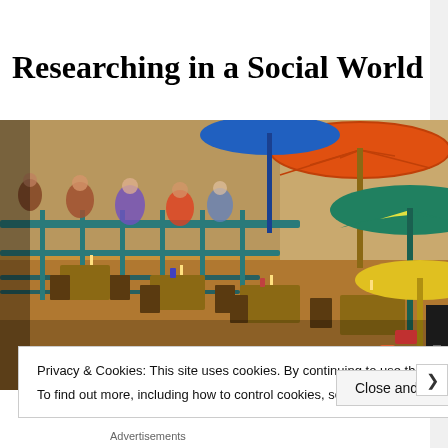Researching in a Social World
[Figure (photo): Outdoor café or restaurant scene along a riverbank or patio with colorful umbrellas (blue, orange, green, yellow, multi-colored), people seated at metal tables and chairs, warm ambient lighting]
Privacy & Cookies: This site uses cookies. By continuing to use this website, you agree to their use.
To find out more, including how to control cookies, see here: Cookie Policy
Close and accept
Advertisements